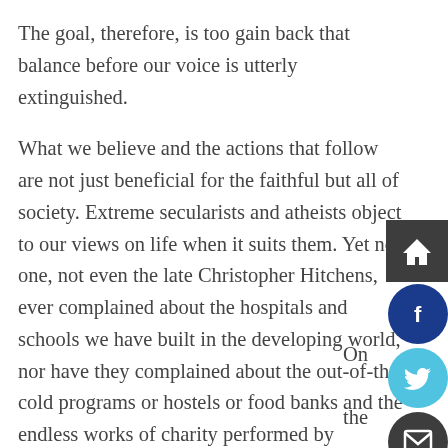The goal, therefore, is too gain back that balance before our voice is utterly extinguished.
What we believe and the actions that follow are not just beneficial for the faithful but all of society. Extreme secularists and atheists object to our views on life when it suits them. Yet no one, not even the late Christopher Hitchens, ever complained about the hospitals and schools we have built in the developing world, nor have they complained about the out-of-the-cold programs or hostels or food banks and the endless works of charity performed by Catholics and the Church. It was a Catholic parish in Toronto who sent their priests into the gay village when the AIDS epidemic hit. They did not go there to convert but to comfort.
On

the